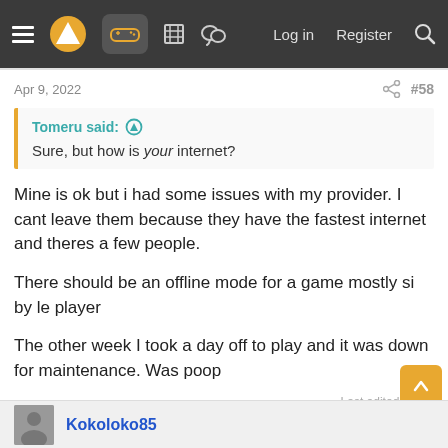Navigation bar with menu, logo, controller icon, building icon, chat icon, Log in, Register, Search
Apr 9, 2022   #58
Tomeru said: ↑
Sure, but how is your internet?
Mine is ok but i had some issues with my provider. I cant leave them because they have the fastest internet and theres a few people.

There should be an offline mode for a game mostly si by le player

The other week I took a day off to play and it was down for maintenance. Was poop
Last edited: Apr 9
Kokoloko85